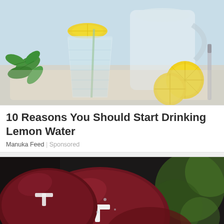[Figure (photo): Photo of lemon water: a glass of water with lemon slices and mint leaves on a tray, with a pitcher of lemonade and sliced lemons in the background]
10 Reasons You Should Start Drinking Lemon Water
Manuka Feed | Sponsored
[Figure (photo): Photo of maroon football helmets with a letter T logo, set against a green bokeh background]